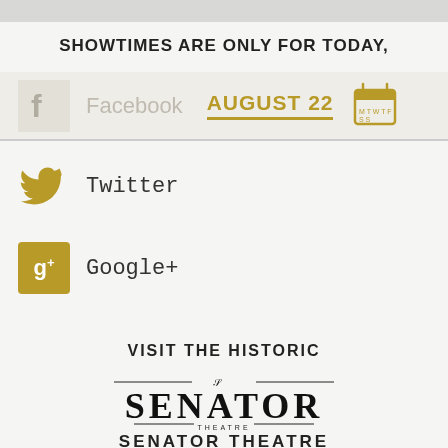SHOWTIMES ARE ONLY FOR TODAY,
Facebook  AUGUST 22
Twitter
Google+
VISIT THE HISTORIC
[Figure (logo): Senator Theatre decorative logo with ornate lettering]
SENATOR THEATRE
Website by Hardly Square